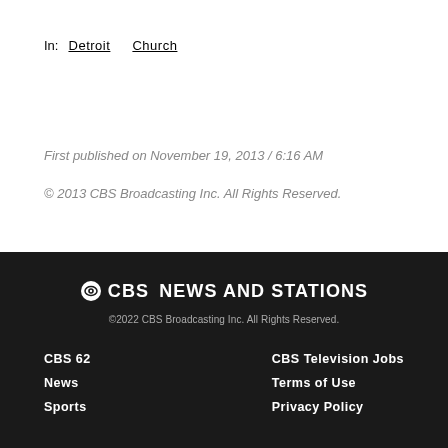In: Detroit  Church
First published on November 19, 2013 / 6:16 AM
© 2013 CBS Broadcasting Inc. All Rights Reserved.
CBS NEWS AND STATIONS
©2022 CBS Broadcasting Inc. All Rights Reserved.
CBS 62  CBS Television Jobs
News  Terms of Use
Sports  Privacy Policy